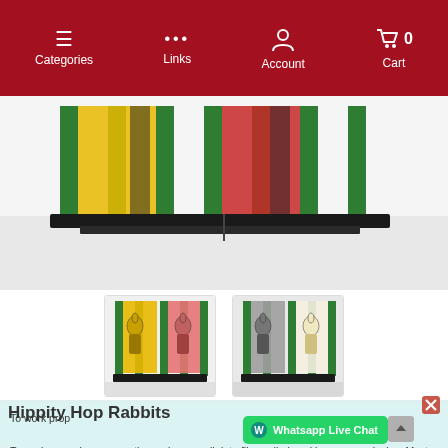Categories | Links | Account | Cart 0
[Figure (photo): Main product photo showing colorful rabbit figurines on a black base with yellow, red, green acrylic panels]
[Figure (photo): Thumbnail 1: Two colored rabbits (yellow and pink) on a black stand with green backing]
[Figure (photo): Thumbnail 2: Two grey/white rabbits on a black stand with green backing]
Hippity Hop Rabbits
A classic, wonderful routine for kids where two rabbits change positions magically to finally change co...
To work properly, we sometimes place small data files called cookies on your device. Most big websites do this too. You can see our privacy policy here.
Whatsapp Live Chat